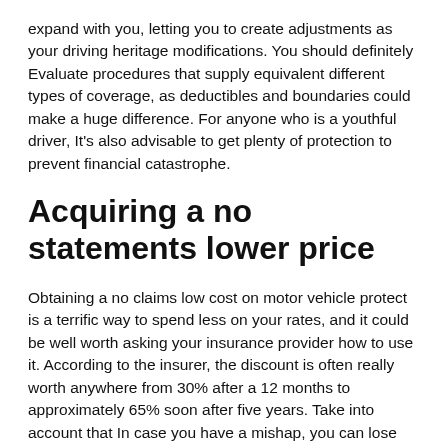expand with you, letting you to create adjustments as your driving heritage modifications. You should definitely Evaluate procedures that supply equivalent different types of coverage, as deductibles and boundaries could make a huge difference. For anyone who is a youthful driver, It's also advisable to get plenty of protection to prevent financial catastrophe.
Acquiring a no statements lower price
Obtaining a no claims low cost on motor vehicle protect is a terrific way to spend less on your rates, and it could be well worth asking your insurance provider how to use it. According to the insurer, the discount is often really worth anywhere from 30% after a 12 months to approximately 65% soon after five years. Take into account that In case you have a mishap, you can lose two yrs of no statements reward. Moreover, many claims may even wipe out your